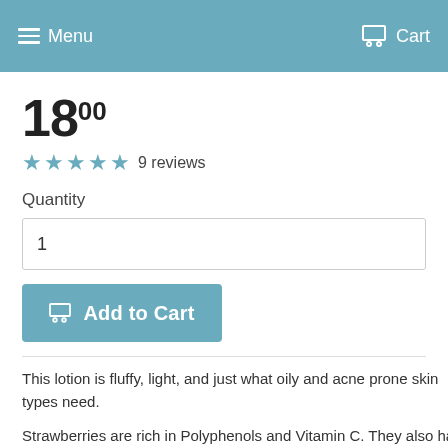Menu   Cart
18.00
★★★★★ 9 reviews
Quantity
1
Add to Cart
This lotion is fluffy, light, and just what oily and acne prone skin types need.
Strawberries are rich in Polyphenols and Vitamin C. They also have soothing and toning properties which helps to reduce blocked